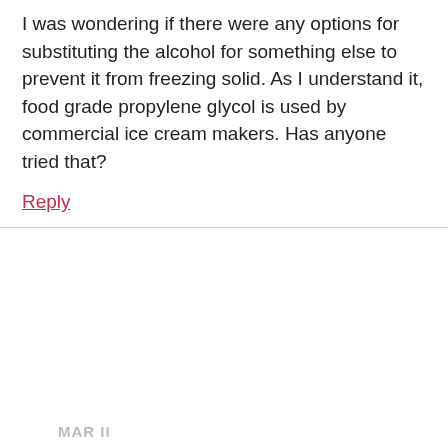I was wondering if there were any options for substituting the alcohol for something else to prevent it from freezing solid. As I understand it, food grade propylene glycol is used by commercial ice cream makers. Has anyone tried that?
Reply
CCK MEDIA TEAM
17th May 2022 at 7:16 am
We have never tried it. Be sure to report back if you try!
Reply
MAR II